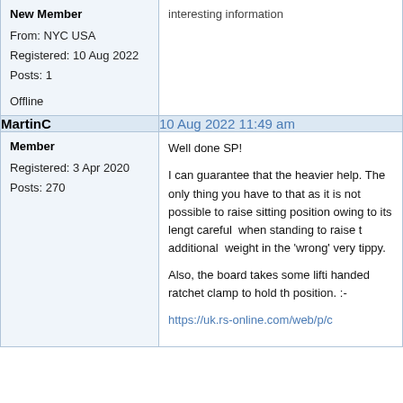| User Info | Post Content |
| --- | --- |
| New Member
From: NYC USA
Registered: 10 Aug 2022
Posts: 1

Offline | interesting information |
| MartinC | 10 Aug 2022 11:49 am |  |
| Member
Registered: 3 Apr 2020
Posts: 270 | Well done SP!

I can guarantee that the heavier help. The only thing you have to that as it is not possible to raise sitting position owing to its lengt careful when standing to raise t additional weight in the 'wrong' very tippy.

Also, the board takes some lifti handed ratchet clamp to hold th position. :-

https://uk.rs-online.com/web/p/c |